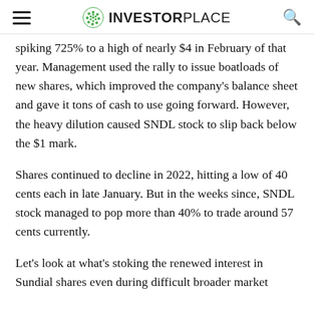INVESTORPLACE
spiking 725% to a high of nearly $4 in February of that year. Management used the rally to issue boatloads of new shares, which improved the company's balance sheet and gave it tons of cash to use going forward. However, the heavy dilution caused SNDL stock to slip back below the $1 mark.
Shares continued to decline in 2022, hitting a low of 40 cents each in late January. But in the weeks since, SNDL stock managed to pop more than 40% to trade around 57 cents currently.
Let's look at what's stoking the renewed interest in Sundial shares even during difficult broader market